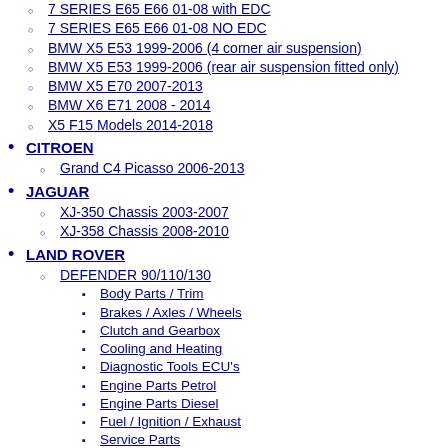7 SERIES E65 E66 01-08 with EDC
7 SERIES E65 E66 01-08 NO EDC
BMW X5 E53 1999-2006 (4 corner air suspension)
BMW X5 E53 1999-2006 (rear air suspension fitted only)
BMW X5 E70 2007-2013
BMW X6 E71 2008 - 2014
X5 F15 Models 2014-2018
CITROEN
Grand C4 Picasso 2006-2013
JAGUAR
XJ-350 Chassis 2003-2007
XJ-358 Chassis 2008-2010
LAND ROVER
DEFENDER 90/110/130
Body Parts / Trim
Brakes / Axles / Wheels
Clutch and Gearbox
Cooling and Heating
Diagnostic Tools ECU's
Engine Parts Petrol
Engine Parts Diesel
Fuel / Ignition / Exhaust
Service Parts
Steering